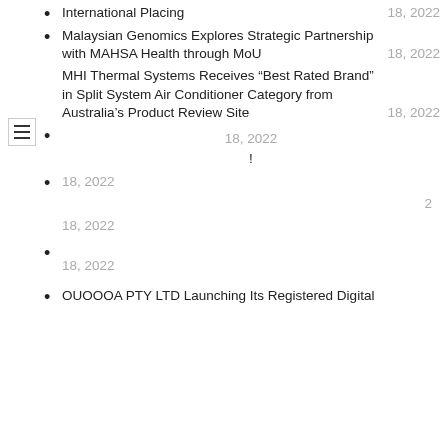International Placing    18, 2022
Malaysian Genomics Explores Strategic Partnership with MAHSA Health through MoU    18, 2022
MHI Thermal Systems Receives “Best Rated Brand” in Split System Air Conditioner Category from Australia’s Product Review Site    18, 2022
18, 2022  !
18, 2022    2    18, 2022
18, 2022
OUOOOA PTY LTD Launching Its Registered Digital